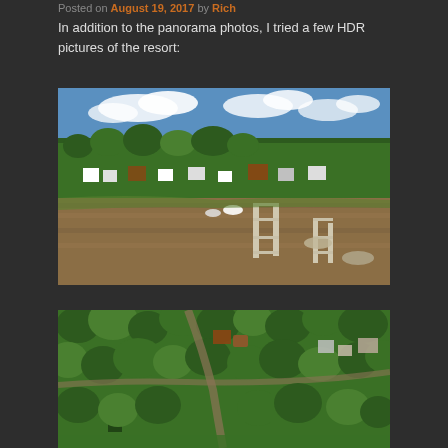Posted on August 19, 2017 by Rich
In addition to the panorama photos, I tried a few HDR pictures of the resort:
[Figure (photo): Aerial HDR photo of a resort on a lake, showing cabins/buildings nestled among dense green trees, a dock with boats on brownish water, and a blue lake visible in the background under partly cloudy sky.]
[Figure (photo): Second aerial HDR photo of the same resort area, showing a closer view of the treetops and buildings/cabins from above, with green vegetation and some dirt paths or roads visible.]